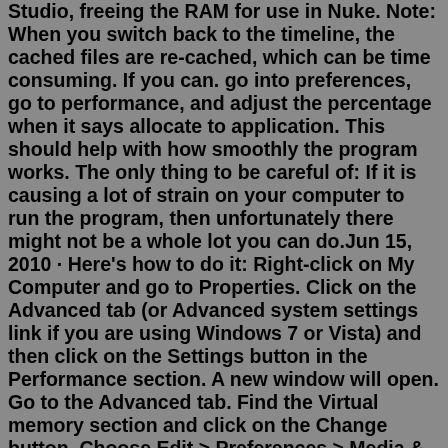Studio, freeing the RAM for use in Nuke. Note: When you switch back to the timeline, the cached files are re-cached, which can be time consuming. If you can. go into preferences, go to performance, and adjust the percentage when it says allocate to application. This should help with how smoothly the program works. The only thing to be careful of: If it is causing a lot of strain on your computer to run the program, then unfortunately there might not be a whole lot you can do.Jun 15, 2010 · Here's how to do it: Right-click on My Computer and go to Properties. Click on the Advanced tab (or Advanced system settings link if you are using Windows 7 or Vista) and then click on the Settings button in the Performance section. A new window will open. Go to the Advanced tab. Find the Virtual memory section and click on the Change button. Choose Edit > Preferences > Media & Disk Cache (Windows) or After Effects > Preferences > Media & Disk Cache (Mac OS), and select, or deselect Enable Disk Cache. Disk cache preferences allow you to select a folder to contain your cache. Click the